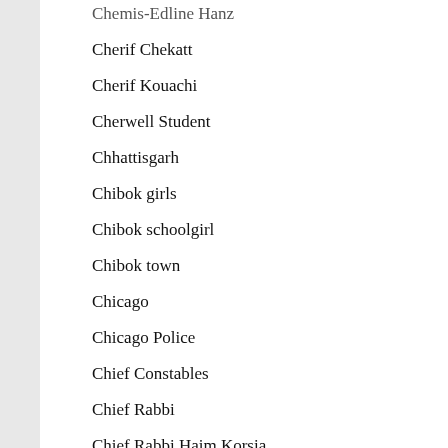Chemis-Edline Hanz
Cherif Chekatt
Cherif Kouachi
Cherwell Student
Chhattisgarh
Chibok girls
Chibok schoolgirl
Chibok town
Chicago
Chicago Police
Chief Constables
Chief Rabbi
Chief Rabbi Haim Korsia
Child
child abuse
children
Children's Society